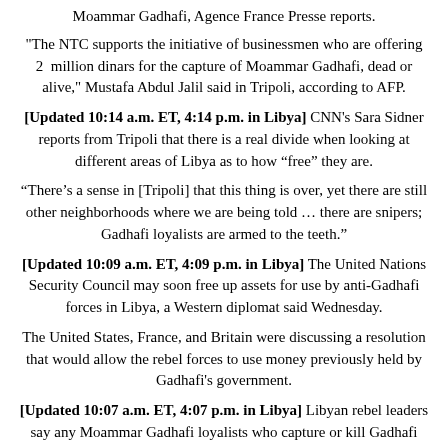Moammar Gadhafi, Agence France Presse reports.
"The NTC supports the initiative of businessmen who are offering 2 million dinars for the capture of Moammar Gadhafi, dead or alive," Mustafa Abdul Jalil said in Tripoli, according to AFP.
[Updated 10:14 a.m. ET, 4:14 p.m. in Libya] CNN's Sara Sidner reports from Tripoli that there is a real divide when looking at different areas of Libya as to how “free” they are.
“There’s a sense in [Tripoli] that this thing is over, yet there are still other neighborhoods where we are being told … there are snipers; Gadhafi loyalists are armed to the teeth.”
[Updated 10:09 a.m. ET, 4:09 p.m. in Libya] The United Nations Security Council may soon free up assets for use by anti-Gadhafi forces in Libya, a Western diplomat said Wednesday.
The United States, France, and Britain were discussing a resolution that would allow the rebel forces to use money previously held by Gadhafi's government.
[Updated 10:07 a.m. ET, 4:07 p.m. in Libya] Libyan rebel leaders say any Moammar Gadhafi loyalists who capture or kill Gadhafi will be offered amnesty, according to a report from Reuters news service.